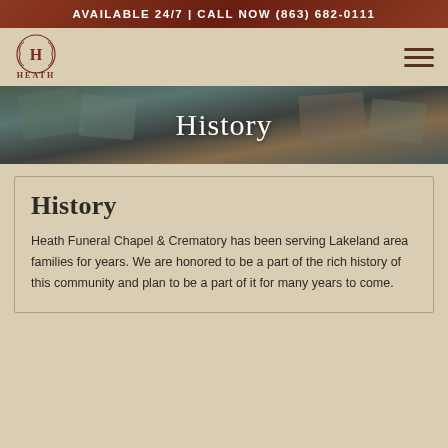AVAILABLE 24/7 | CALL NOW (863) 682-0111
[Figure (logo): Heath Funeral Chapel & Crematory logo with laurel wreath emblem and H monogram]
History
History
Heath Funeral Chapel & Crematory has been serving Lakeland area families for years. We are honored to be a part of the rich history of this community and plan to be a part of it for many years to come.